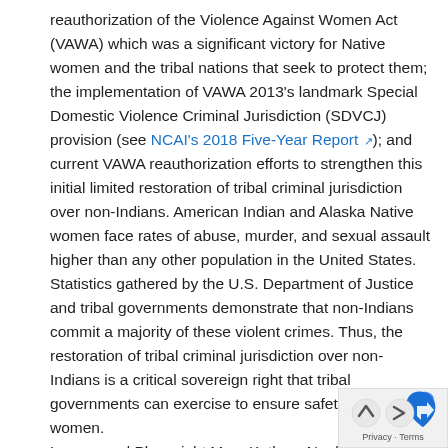reauthorization of the Violence Against Women Act (VAWA) which was a significant victory for Native women and the tribal nations that seek to protect them; the implementation of VAWA 2013's landmark Special Domestic Violence Criminal Jurisdiction (SDVCJ) provision (see NCAI's 2018 Five-Year Report [external link]); and current VAWA reauthorization efforts to strengthen this initial limited restoration of tribal criminal jurisdiction over non-Indians. American Indian and Alaska Native women face rates of abuse, murder, and sexual assault higher than any other population in the United States. Statistics gathered by the U.S. Department of Justice and tribal governments demonstrate that non-Indians commit a majority of these violent crimes. Thus, the restoration of tribal criminal jurisdiction over non- Indians is a critical sovereign right that tribal governments can exercise to ensure safety for Native women. Lawyer and Playwright Mary Kathryn Nagle and a stellar panel joins us on this webinar to discuss her important play, Sliver of a Full Moon [external link], which documents this
[Figure (other): Privacy & Terms badge with Google-style scroll-to-top arrow button overlay in bottom-right corner]